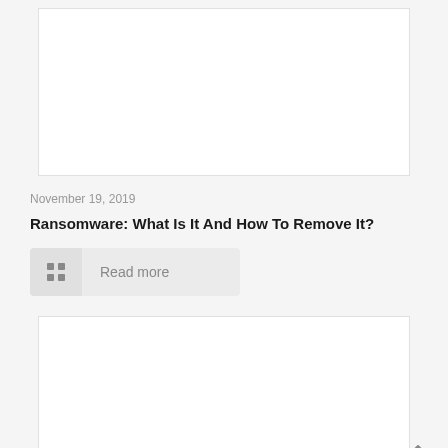[Figure (photo): Top card image placeholder (white rectangle with light border)]
November 19, 2019
Ransomware: What Is It And How To Remove It?
Read more
[Figure (photo): Bottom card image placeholder (white rectangle with light border)]